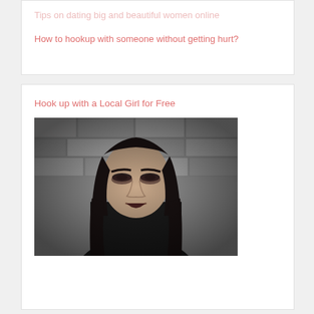Tips on dating big and beautiful women online
How to hookup with someone without getting hurt?
Hook up with a Local Girl for Free
[Figure (photo): Black and white dramatic portrait of a young woman with dark hair against a stone/brick wall background, looking intensely at camera with mouth slightly open]